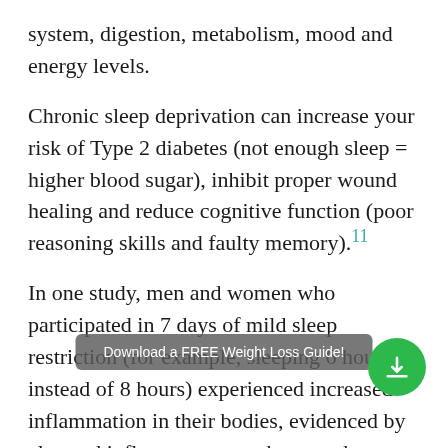system, digestion, metabolism, mood and energy levels.
Chronic sleep deprivation can increase your risk of Type 2 diabetes (not enough sleep = higher blood sugar), inhibit proper wound healing and reduce cognitive function (poor reasoning skills and faulty memory).11
In one study, men and women who participated in 7 days of mild sleep restriction (for example, sleeping 6 hours instead of 8 hours) experienced increased inflammation in their bodies, evidenced by elevated inflammatory markers, such as high sensitivity C-reactive protein and...